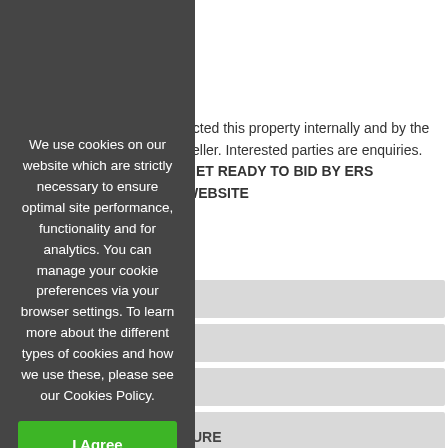D
NB
ected this property internally and by the seller. Interested parties are enquiries. GET READY TO BID BY ERS WEBSITE
We use cookies on our website which are strictly necessary to ensure optimal site performance, functionality and for analytics. You can manage your cookie preferences via your browser settings. To learn more about the different types of cookies and how we use these, please see our Cookies Policy.
I Agree
URE